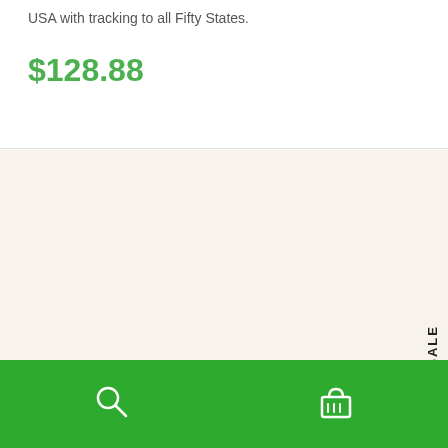USA with tracking to all Fifty States.
$128.88
[Figure (photo): Group of brown kraft paper tubes and rolls of various sizes arranged together, product shot on light background]
ON SALE
Add to Cart